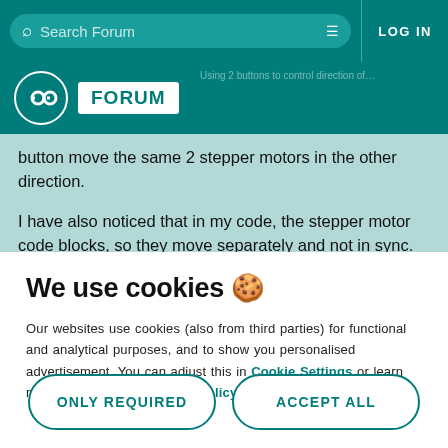Search Forum   LOG IN
[Figure (logo): Arduino Forum logo with infinity symbol and FORUM badge]
button move the same 2 stepper motors in the other direction.

I have also noticed that in my code, the stepper motor code blocks, so they move separately and not in sync.
We use cookies 🍪
Our websites use cookies (also from third parties) for functional and analytical purposes, and to show you personalised advertisement. You can adjust this in Cookie Settings or learn more by reading our cookie policy.
ONLY REQUIRED
ACCEPT ALL